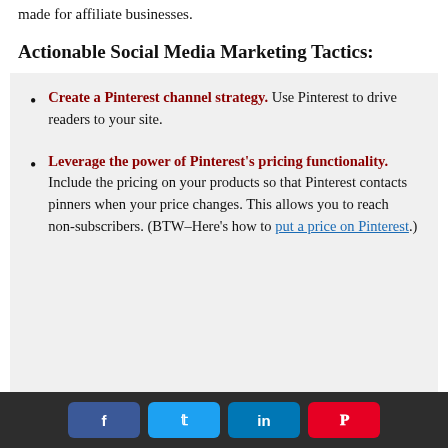made for affiliate businesses.
Actionable Social Media Marketing Tactics:
Create a Pinterest channel strategy. Use Pinterest to drive readers to your site.
Leverage the power of Pinterest’s pricing functionality. Include the pricing on your products so that Pinterest contacts pinners when your price changes. This allows you to reach non-subscribers. (BTW–Here’s how to put a price on Pinterest.)
Share buttons: Facebook, Twitter, LinkedIn, Pinterest